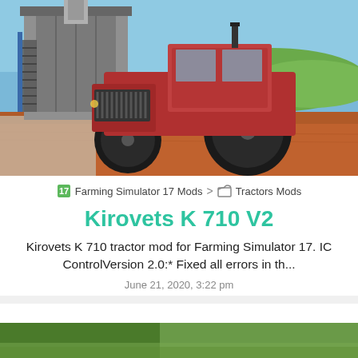[Figure (screenshot): Screenshot of a red Kirovets K 710 tractor mod in Farming Simulator 17 video game, shown on a dirt yard with a blue sky and industrial building in background.]
Farming Simulator 17 Mods > Tractors Mods
Kirovets K 710 V2
Kirovets K 710 tractor mod for Farming Simulator 17. IC ControlVersion 2.0:* Fixed all errors in th...
June 21, 2020, 3:22 pm
[Figure (screenshot): Partial thumbnail of another article visible at bottom of page.]